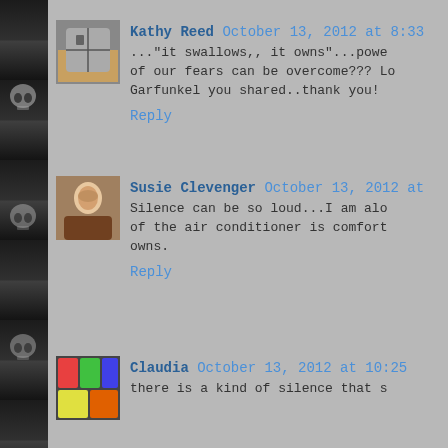Kathy Reed October 13, 2012 at 8:33
..."it swallows,, it owns"...powe of our fears can be overcome??? Lo Garfunkel you shared..thank you!
Reply
Susie Clevenger October 13, 2012 at
Silence can be so loud...I am alo of the air conditioner is comfort owns.
Reply
Claudia October 13, 2012 at 10:25
there is a kind of silence that s